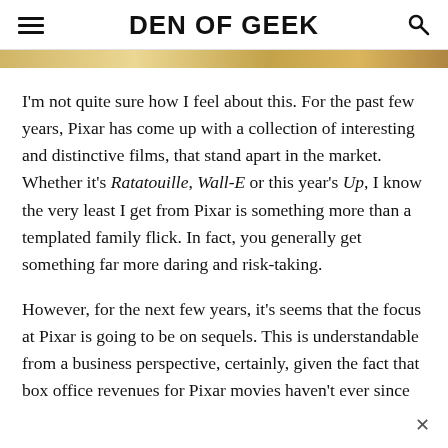DEN OF GEEK
[Figure (photo): Gold/tan decorative banner image strip below the header]
I'm not quite sure how I feel about this. For the past few years, Pixar has come up with a collection of interesting and distinctive films, that stand apart in the market. Whether it's Ratatouille, Wall-E or this year's Up, I know the very least I get from Pixar is something more than a templated family flick. In fact, you generally get something far more daring and risk-taking.
However, for the next few years, it's seems that the focus at Pixar is going to be on sequels. This is understandable from a business perspective, certainly, given the fact that box office revenues for Pixar movies haven't ever since